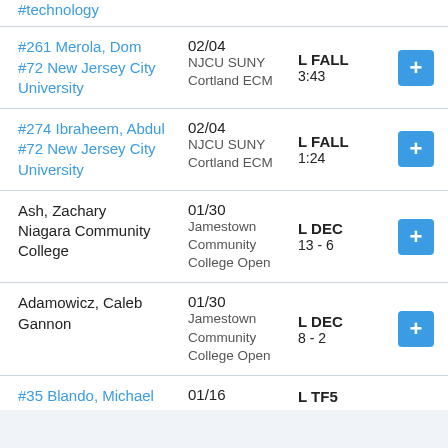| Wrestler / School | Date / Event | Result |  |
| --- | --- | --- | --- |
| #261 Merola, Dom
#72 New Jersey City University | 02/04
NJCU SUNY Cortland ECM | L FALL
3:43 | + |
| #274 Ibraheem, Abdul
#72 New Jersey City University | 02/04
NJCU SUNY Cortland ECM | L FALL
1:24 | + |
| Ash, Zachary
Niagara Community College | 01/30
Jamestown Community College Open | L DEC
13 - 6 | + |
| Adamowicz, Caleb
Gannon | 01/30
Jamestown Community College Open | L DEC
8 - 2 | + |
| #35 Blando, Michael | 01/16 | L TF5 |  |